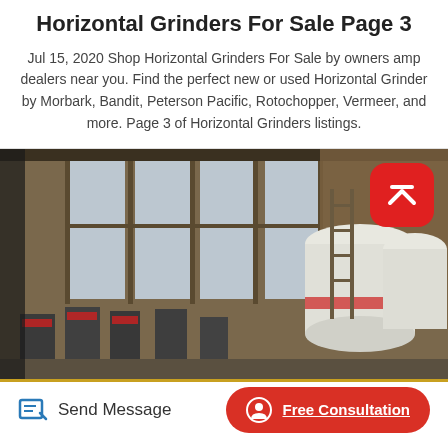Horizontal Grinders For Sale Page 3
Jul 15, 2020 Shop Horizontal Grinders For Sale by owners amp dealers near you. Find the perfect new or used Horizontal Grinder by Morbark, Bandit, Peterson Pacific, Rotochopper, Vermeer, and more. Page 3 of Horizontal Grinders listings.
[Figure (photo): Industrial warehouse interior showing horizontal grinding machinery with large white cylindrical components and tall windows letting in natural light.]
Send Message
Free Consultation